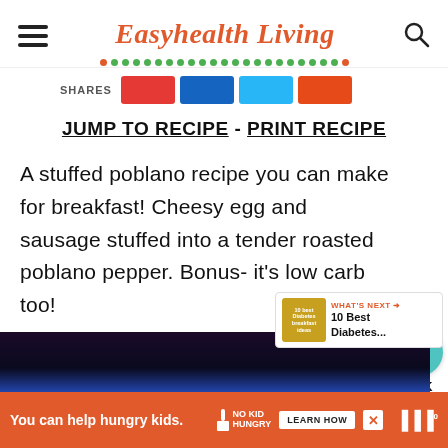Easyhealth Living
SHARES
JUMP TO RECIPE - PRINT RECIPE
A stuffed poblano recipe you can make for breakfast! Cheesy egg and sausage stuffed into a tender roasted poblano pepper. Bonus- it's low carb too!
WHAT'S NEXT → 10 Best Diabetes...
[Figure (photo): Dark photo area showing top of food image]
You can help hungry kids. NO KID HUNGRY LEARN HOW